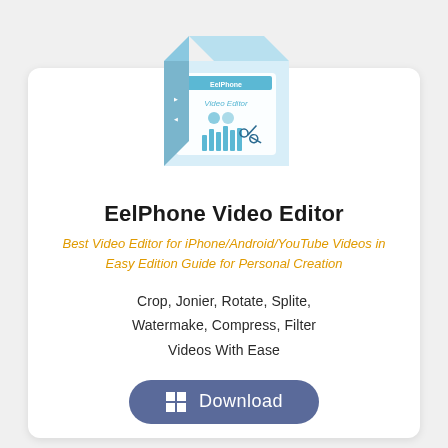[Figure (illustration): 3D software box illustration for EelPhone Video Editor with teal/blue color scheme, showing bar chart and scissor icons on the front panel]
EelPhone Video Editor
Best Video Editor for iPhone/Android/YouTube Videos in Easy Edition Guide for Personal Creation
Crop, Jonier, Rotate, Splite, Watermake, Compress, Filter Videos With Ease
[Figure (other): Download button with Windows icon]